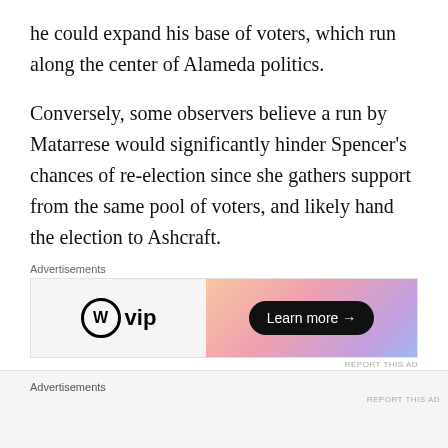he could expand his base of voters, which run along the center of Alameda politics.
Conversely, some observers believe a run by Matarrese would significantly hinder Spencer's chances of re-election since she gathers support from the same pool of voters, and likely hand the election to Ashcraft.
[Figure (other): WordPress VIP advertisement banner with gradient background and 'Learn more →' button]
Matarrese's previous run for Alameda mayor in 2010
Advertisements